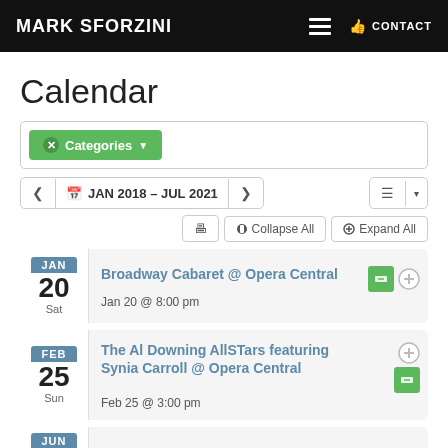MARK SFORZINI | CONTACT
Calendar
Categories (filter)
JAN 2018 – JUL 2021
Collapse All | Expand All
Broadway Cabaret @ Opera Central — Jan 20 @ 8:00 pm
The Al Downing AllSTars featuring Synia Carroll @ Opera Central — Feb 25 @ 3:00 pm
JUN (partial)